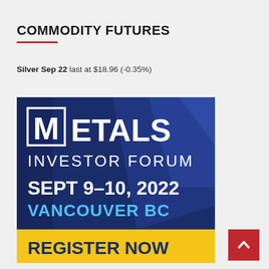COMMODITY FUTURES
Silver Sep 22 last at $18.96 (-0.35%)
[Figure (illustration): Metals Investor Forum advertisement banner. Dark navy blue background with diagonal stripe design. Large white text reads 'METALS INVESTOR FORUM'. Below that bold white text 'SEPT 9-10, 2022' and cyan/light blue text 'VANCOUVER BC'. Bottom yellow banner with bold dark text 'REGISTER NOW'. The letter M in METALS has a white square border around it.]
[Figure (other): Red square button with white upward-pointing chevron arrow, used as a back-to-top navigation button.]